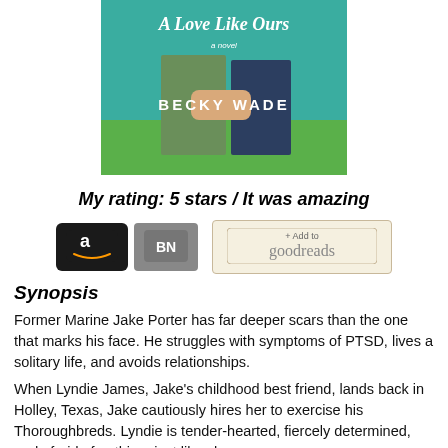[Figure (photo): Book cover of 'A Love Like Ours, a novel' by Becky Wade — teal/turquoise background with cursive title text and the author's name in white capital letters at the bottom, showing clasped hands in jeans.]
My rating: 5 stars / It was amazing
[Figure (other): Two purchase/add buttons: Amazon (black rounded button with 'a' logo and smile) and BN (Barnes & Noble gray button), plus a '+Add to goodreads' beige button.]
Synopsis
Former Marine Jake Porter has far deeper scars than the one that marks his face. He struggles with symptoms of PTSD, lives a solitary life, and avoids relationships.
When Lyndie James, Jake's childhood best friend, lands back in Holley, Texas, Jake cautiously hires her to exercise his Thoroughbreds. Lyndie is tender-hearted, fiercely determined, and afraid of nothing, just like she was as a